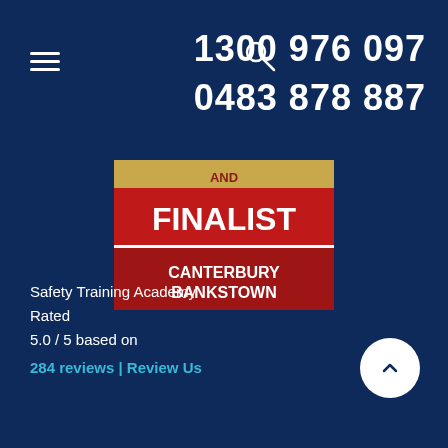[Figure (other): Hamburger menu icon (three horizontal lines) in white on dark blue background]
[Figure (other): Search icon (magnifying glass) in white on dark blue background]
1300 976 097
0483 878 887
[Figure (logo): Finalist badge for Canterbury Bankstown award — red badge with white text reading FINALIST on top and CANTERBURY BANKSTOWN below, with a gold arc at top]
Safety Training Academy
Rated
5.0 / 5 based on
284 reviews | Review Us